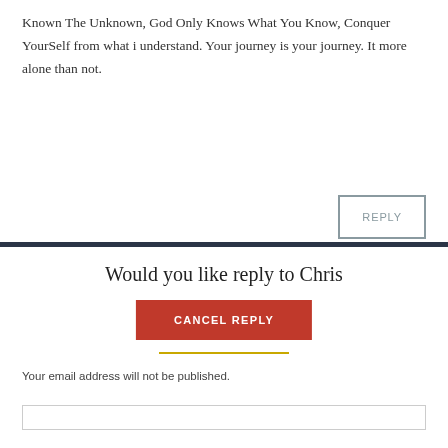Known The Unknown, God Only Knows What You Know, Conquer YourSelf from what i understand. Your journey is your journey. It more alone than not.
REPLY
Would you like reply to Chris
CANCEL REPLY
Your email address will not be published.